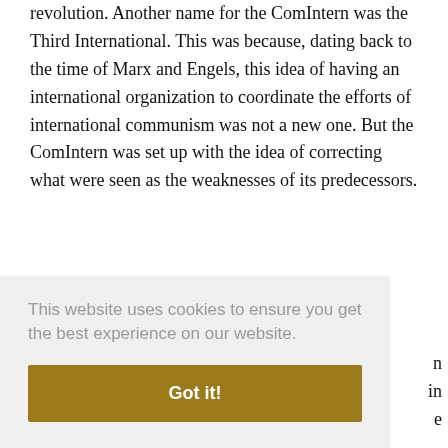revolution. Another name for the ComIntern was the Third International. This was because, dating back to the time of Marx and Engels, this idea of having an international organization to coordinate the efforts of international communism was not a new one. But the ComIntern was set up with the idea of correcting what were seen as the weaknesses of its predecessors.
The First International, or the International ... in ... e ... especially as the labor movement was on the
This website uses cookies to ensure you get the best experience on our website.
Got it!